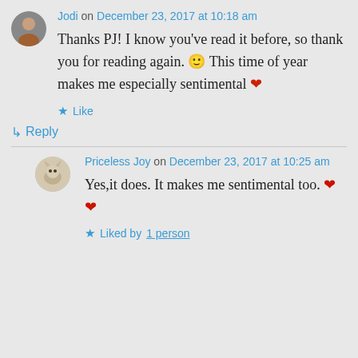Jodi on December 23, 2017 at 10:18 am
Thanks PJ! I know you've read it before, so thank you for reading again. 🙂 This time of year makes me especially sentimental ❤
★ Like
↳ Reply
Priceless Joy on December 23, 2017 at 10:25 am
Yes,it does. It makes me sentimental too. ❤ ❤
★ Liked by 1 person